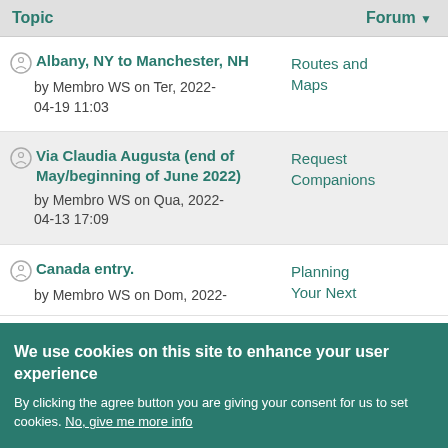| Topic | Forum |
| --- | --- |
| Albany, NY to Manchester, NH
by Membro WS on Ter, 2022-04-19 11:03 | Routes and Maps |
| Via Claudia Augusta (end of May/beginning of June 2022)
by Membro WS on Qua, 2022-04-13 17:09 | Request Companions |
| Canada entry.
by Membro WS on Dom, 2022- | Planning Your Next |
We use cookies on this site to enhance your user experience
By clicking the agree button you are giving your consent for us to set cookies. No, give me more info